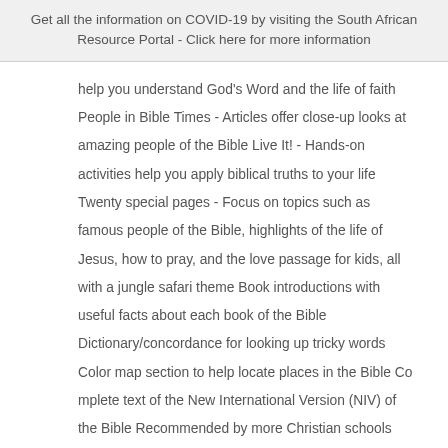Get all the information on COVID-19 by visiting the South African Resource Portal - Click here for more information
help you understand God's Word and the life of faith People in Bible Times - Articles offer close-up looks at amazing people of the Bible Live It! - Hands-on activities help you apply biblical truths to your life Twenty special pages - Focus on topics such as famous people of the Bible, highlights of the life of Jesus, how to pray, and the love passage for kids, all with a jungle safari theme Book introductions with useful facts about each book of the Bible Dictionary/concordance for looking up tricky words Color map section to help locate places in the Bible Co mplete text of the New International Version (NIV) of the Bible Recommended by more Christian schools and churches than any other Bible for kids!